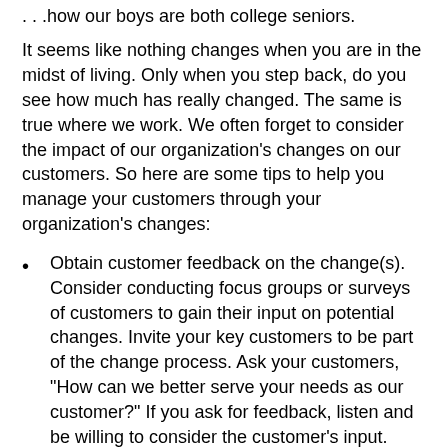. . .how our boys are both college seniors.
It seems like nothing changes when you are in the midst of living. Only when you step back, do you see how much has really changed. The same is true where we work. We often forget to consider the impact of our organization’s changes on our customers. So here are some tips to help you manage your customers through your organization’s changes:
Obtain customer feedback on the change(s). Consider conducting focus groups or surveys of customers to gain their input on potential changes. Invite your key customers to be part of the change process. Ask your customers, “How can we better serve your needs as our customer?” If you ask for feedback, listen and be willing to consider the customer’s input.
Help your customers understand the “why” behind the changes that impact them. Customers want to know, “What’s in it for me?” Share the benefits to the